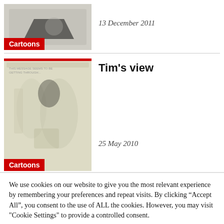[Figure (illustration): Thumbnail image for cartoon article with a Cartoons badge label, dated 13 December 2011]
13 December 2011
[Figure (illustration): Thumbnail illustration for Tim's view cartoon article with a Cartoons badge label]
Tim's view
25 May 2010
We use cookies on our website to give you the most relevant experience by remembering your preferences and repeat visits. By clicking “Accept All”, you consent to the use of ALL the cookies. However, you may visit "Cookie Settings" to provide a controlled consent.